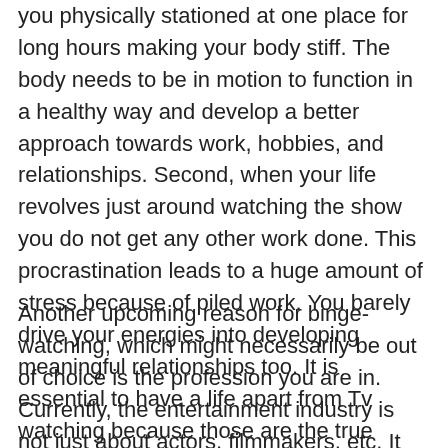you physically stationed at one place for long hours making your body stiff. The body needs to be in motion to function in a healthy way and develop a better approach towards work, hobbies, and relationships. Second, when your life revolves just around watching the show you do not get any other work done. This procrastination leads to a huge amount of stress because of piled work. You barely drive your energies into developing meaningful relationships too. It is essential to have a life apart from Tv watching because those are the true essences of human life.
Another upcoming reason for binge-watching, which might necessarily be out of choice is the profession you are in. Currently, the entertainment industry is not just about actors, filmmakers, etc. It involves a huge crew behind the scenes which does the job of editing, subtitle making, reviewing and critiquing the content. In all these jobs, the amount of hours spent watching content is surplus. This could lead to binge-watching and probably even attachment to characters because